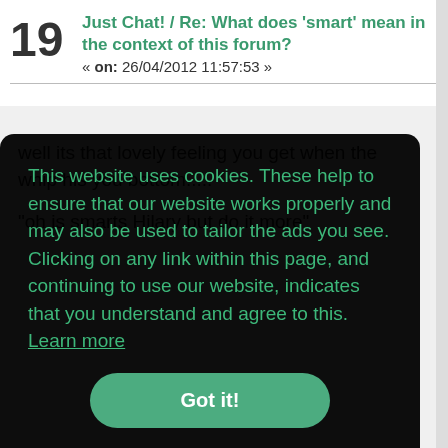19 Just Chat! / Re: What does 'smart' mean in the context of this forum? « on: 26/04/2012 11:57:53 »
well its that lovely feeling you get when the whip his you bottom.....
"oh is smarts Hilary but do it more"
This website uses cookies. These help to ensure that our website works properly and may also be used to tailor the ads you see. Clicking on any link within this page, and continuing to use our website, indicates that you understand and agree to this.  Learn more
Got it!